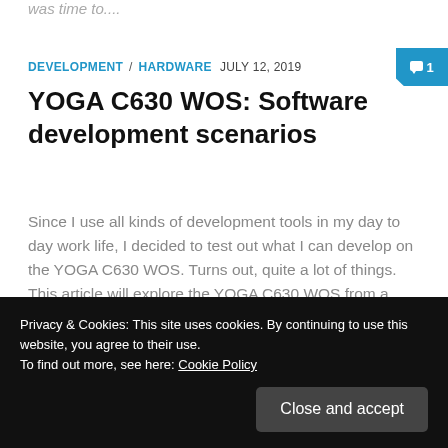was time to....
DEVELOPMENT / HARDWARE   JULY 12, 2019
YOGA C630 WOS: Software development scenarios
Since I use all kinds of development tools in my day to day work life, I decided to test out what I can develop on the YOGA C630 WOS. Turns out, quite a lot of things. This article will explore the YOGA C630 WOS from a developer point of view....
Privacy & Cookies: This site uses cookies. By continuing to use this website, you agree to their use.
To find out more, see here: Cookie Policy